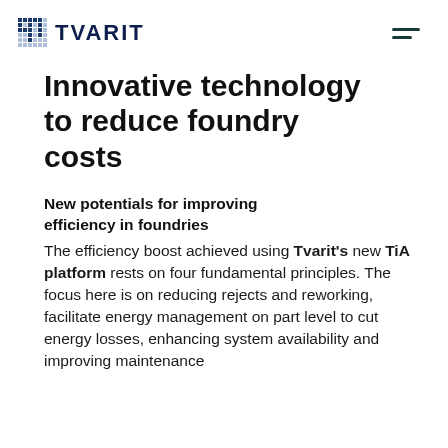TVARIT
Innovative technology to reduce foundry costs
New potentials for improving efficiency in foundries
The efficiency boost achieved using Tvarit's new TiA platform rests on four fundamental principles. The focus here is on reducing rejects and reworking, facilitate energy management on part level to cut energy losses, enhancing system availability and improving maintenance